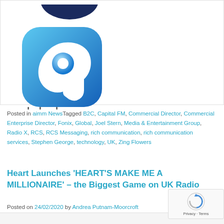[Figure (logo): Global radio logo — blue glossy rounded square icon with stylized 'g' shape, with word 'global' in grey below]
Posted in aimm NewsTagged B2C, Capital FM, Commercial Director, Commercial Enterprise Director, Fonix, Global, Joel Stern, Media & Entertainment Group, Radio X, RCS, RCS Messaging, rich communication, rich communication services, Stephen George, technology, UK, Zing Flowers
Heart Launches 'HEART'S MAKE ME A MILLIONAIRE' – the Biggest Game on UK Radio
Posted on 24/02/2020 by Andrea Putnam-Moorcroft